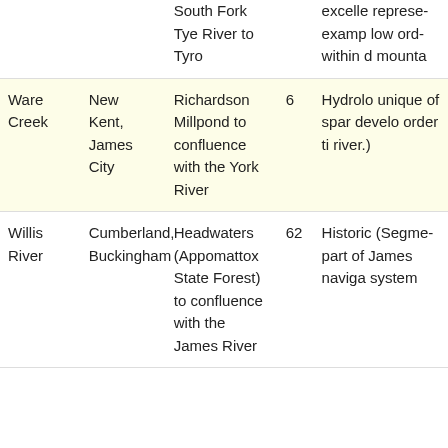| River/Stream | Counties/Cities | Segment | Miles | Significance |
| --- | --- | --- | --- | --- |
|  |  | South Fork Tye River to Tyro |  | excelle... representa example low ord... within d... mounta... |
| Ware Creek | New Kent, James City | Richardson Millpond to confluence with the York River | 6 | Hydrolo... unique of spar... develo... order ti... river.) |
| Willis River | Cumberland, Buckingham | Headwaters (Appomattox State Forest) to confluence with the James River | 62 | Historic... (Segme... part of James naviga... system... |